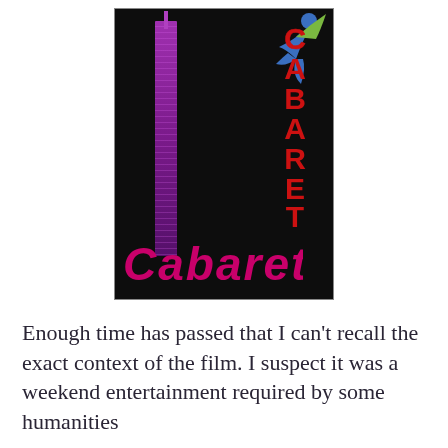[Figure (illustration): Movie poster for 'Cabaret' — black background with a dancer figure at top right, vertical purple building/tower on the left, vertical red dotted letters spelling 'CABARET' on the right side, and large pink/magenta stylized 'Cabaret' text at the bottom.]
Enough time has passed that I can't recall the exact context of the film. I suspect it was a weekend entertainment required by some humanities